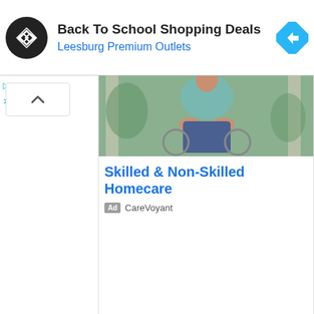[Figure (screenshot): Top ad banner: black circle logo with infinity-like symbol, text 'Back To School Shopping Deals' and 'Leesburg Premium Outlets' in blue, blue diamond navigation icon on right]
[Figure (photo): Partial photo of person in wheelchair outdoors with green and concrete background]
Skilled & Non-Skilled Homecare
Ad  CareVoyant